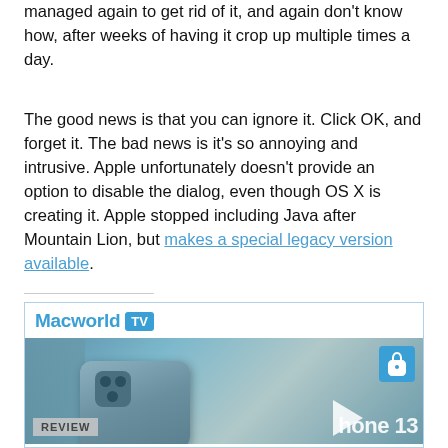managed again to get rid of it, and again don't know how, after weeks of having it crop up multiple times a day.
The good news is that you can ignore it. Click OK, and forget it. The bad news is it's so annoying and intrusive. Apple unfortunately doesn't provide an option to disable the dialog, even though OS X is creating it. Apple stopped including Java after Mountain Lion, but makes a special legacy version available.
[Figure (screenshot): Macworld TV video player showing an iPhone 13 review thumbnail with play button overlay. Header shows 'Macworld TV' branding. Bottom shows 'REVIEW' badge and partial text 'hone 13'.]